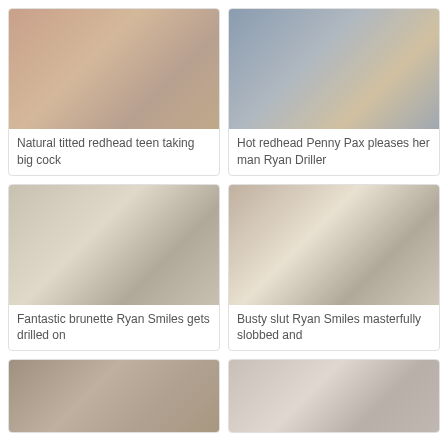[Figure (photo): Thumbnail image for video: Natural titted redhead teen taking big cock]
Natural titted redhead teen taking big cock
[Figure (photo): Thumbnail image for video: Hot redhead Penny Pax pleases her man Ryan Driller]
Hot redhead Penny Pax pleases her man Ryan Driller
[Figure (photo): Thumbnail image for video: Fantastic brunette Ryan Smiles gets drilled on]
Fantastic brunette Ryan Smiles gets drilled on
[Figure (photo): Thumbnail image for video: Busty slut Ryan Smiles masterfully slobbed and]
Busty slut Ryan Smiles masterfully slobbed and
[Figure (photo): Thumbnail image (bottom left, partially visible)]
[Figure (photo): Thumbnail image (bottom right, partially visible)]